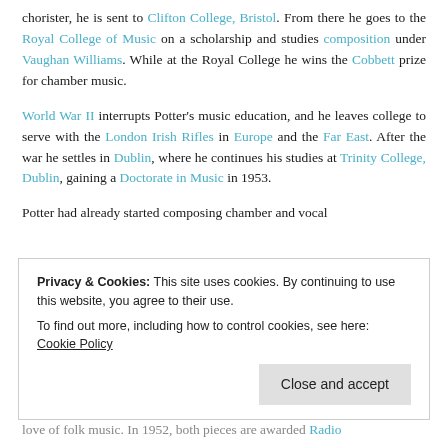chorister, he is sent to Clifton College, Bristol. From there he goes to the Royal College of Music on a scholarship and studies composition under Vaughan Williams. While at the Royal College he wins the Cobbett prize for chamber music.
World War II interrupts Potter's music education, and he leaves college to serve with the London Irish Rifles in Europe and the Far East. After the war he settles in Dublin, where he continues his studies at Trinity College, Dublin, gaining a Doctorate in Music in 1953.
Potter had already started composing chamber and vocal
Privacy & Cookies: This site uses cookies. By continuing to use this website, you agree to their use.
To find out more, including how to control cookies, see here: Cookie Policy
love of folk music. In 1952, both pieces are awarded Radio